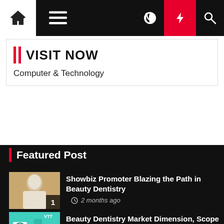Navigation bar with home, menu, moon, bolt, and search icons
VISIT NOW
Computer & Technology
Featured Post
Showbiz Promoter Blazing the Path in Beauty Dentistry
2 months ago
Beauty Dentistry Market Dimension, Scope and Forecast
2 months ago